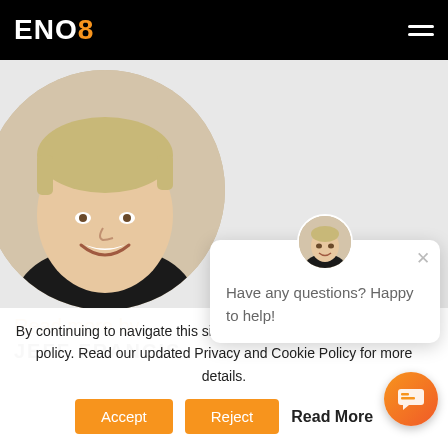ENO8
[Figure (photo): Circular profile photo of a smiling man with short hair wearing a black v-neck shirt, on a light beige background]
Read more by
JEFF FRANCIS
[Figure (screenshot): Chat popup widget with avatar showing a man in black shirt, close button X, and message 'Have any questions? Happy to help!']
By continuing to navigate this site, you agree to our updated cookie policy. Read our updated Privacy and Cookie Policy for more details.
Accept
Reject
Read More